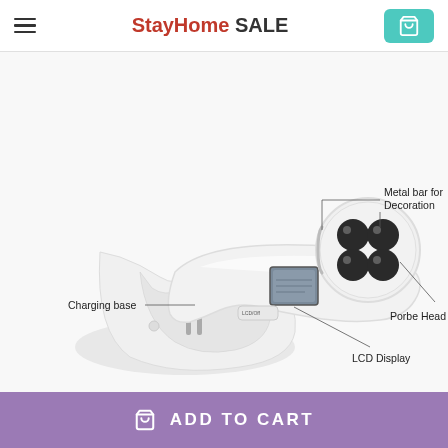StayHome SALE
[Figure (photo): Beauty device with labeled parts: Charging base, Metal bar for Decoration, Probe Head, LCD Display. Device shown with white plastic handle, circular probe head with dark massage nodes, LCD screen display, and separate charging base.]
ADD TO CART